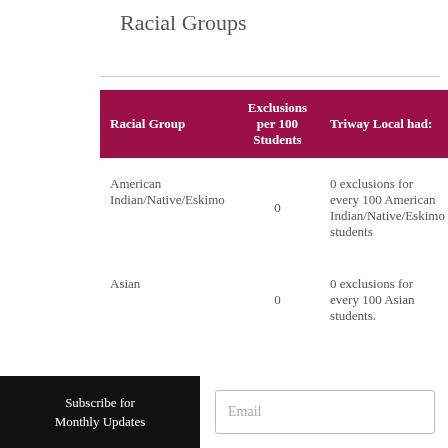Racial Groups
| Racial Group | Exclusions per 100 Students | Triway Local had: |
| --- | --- | --- |
| American Indian/Native/Eskimo | 0 | 0 exclusions for every 100 American Indian/Native/Eskimo students |
| Asian | 0 | 0 exclusions for every 100 Asian students. |
Subscribe for Monthly Updates
Email